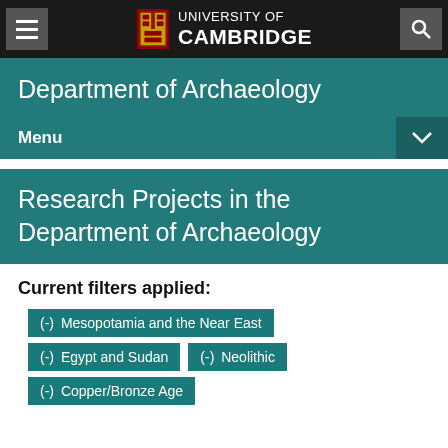University of Cambridge
Department of Archaeology
Menu
Research Projects in the Department of Archaeology
Current filters applied:
(-) Mesopotamia and the Near East
(-) Egypt and Sudan
(-) Neolithic
(-) Copper/Bronze Age